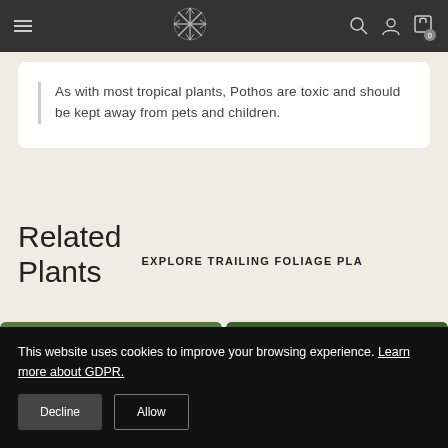Navigation bar with hamburger menu, snowflake logo, search icon, user icon, and cart icon with badge 0
As with most tropical plants, Pothos are toxic and should be kept away from pets and children.
Related Plants
EXPLORE TRAILING FOLIAGE PLA
[Figure (photo): Two green tropical plant photos side by side]
This website uses cookies to improve your browsing experience. Learn more about GDPR.